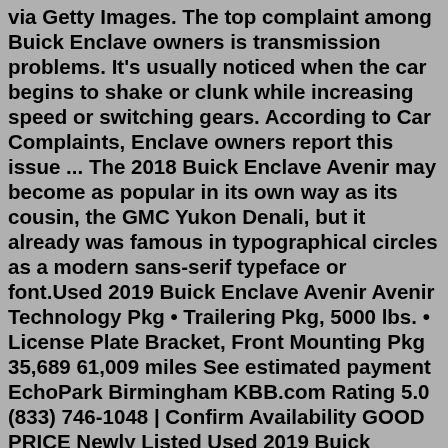via Getty Images. The top complaint among Buick Enclave owners is transmission problems. It's usually noticed when the car begins to shake or clunk while increasing speed or switching gears. According to Car Complaints, Enclave owners report this issue ... The 2018 Buick Enclave Avenir may become as popular in its own way as its cousin, the GMC Yukon Denali, but it already was famous in typographical circles as a modern sans-serif typeface or font.Used 2019 Buick Enclave Avenir Avenir Technology Pkg • Trailering Pkg, 5000 lbs. • License Plate Bracket, Front Mounting Pkg 35,689 61,009 miles See estimated payment EchoPark Birmingham KBB.com Rating 5.0 (833) 746-1048 | Confirm Availability GOOD PRICE Newly Listed Used 2019 Buick Enclave PremiumThe Buick Enclave Avenir SUV was a true champion on a 400-mile road trip to San Francisco with A seven-hour road trip from Los Angeles to San Francisco proved the 2018 Buick Enclave keeps the...1. Check the Fluid Level and Health. It's important to start with the easiest to repair and most likely to be causing your